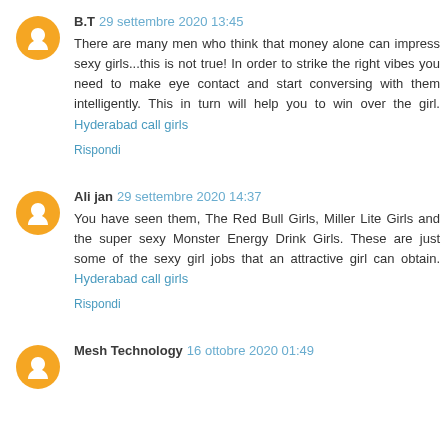B.T 29 settembre 2020 13:45
There are many men who think that money alone can impress sexy girls...this is not true! In order to strike the right vibes you need to make eye contact and start conversing with them intelligently. This in turn will help you to win over the girl. Hyderabad call girls
Rispondi
Ali jan 29 settembre 2020 14:37
You have seen them, The Red Bull Girls, Miller Lite Girls and the super sexy Monster Energy Drink Girls. These are just some of the sexy girl jobs that an attractive girl can obtain. Hyderabad call girls
Rispondi
Mesh Technology 16 ottobre 2020 01:49